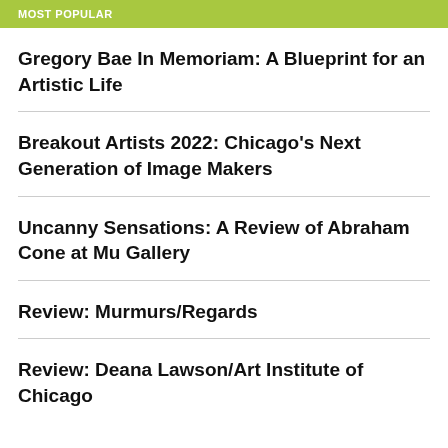MOST POPULAR
Gregory Bae In Memoriam: A Blueprint for an Artistic Life
Breakout Artists 2022: Chicago's Next Generation of Image Makers
Uncanny Sensations: A Review of Abraham Cone at Mu Gallery
Review: Murmurs/Regards
Review: Deana Lawson/Art Institute of Chicago